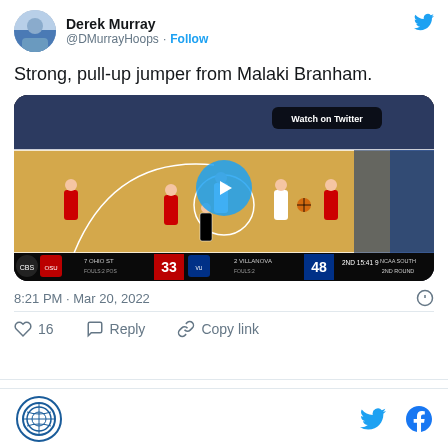Derek Murray @DMurrayHoops · Follow
Strong, pull-up jumper from Malaki Branham.
[Figure (screenshot): Basketball game video thumbnail showing Ohio State vs Villanova NCAA tournament game. Score: 7 Ohio St 33, 2 Villanova 48, 2nd quarter 15:41 remaining. Play button overlay and 'Watch on Twitter' label visible.]
8:21 PM · Mar 20, 2022
16  Reply  Copy link